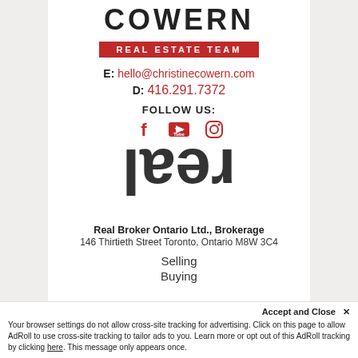COWERN
REAL ESTATE TEAM
E: hello@christinecowern.com
D: 416.291.7372
FOLLOW US:
[Figure (logo): Social media icons: Facebook, YouTube, Instagram]
[Figure (logo): Real broker logo - letters 'real' mirrored/flipped]
Real Broker Ontario Ltd., Brokerage
146 Thirtieth Street Toronto, Ontario M8W 3C4
Selling
Buying
Accept and Close ✕
Your browser settings do not allow cross-site tracking for advertising. Click on this page to allow AdRoll to use cross-site tracking to tailor ads to you. Learn more or opt out of this AdRoll tracking by clicking here. This message only appears once.